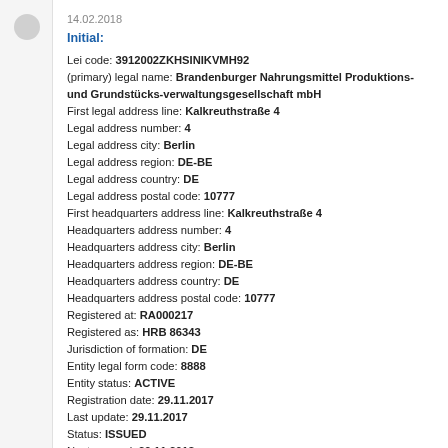14.02.2018
Initial:
Lei code: 3912002ZKHSINIKVMH92
(primary) legal name: Brandenburger Nahrungsmittel Produktions- und Grundstücks-verwaltungsgesellschaft mbH
First legal address line: Kalkreuthstraße 4
Legal address number: 4
Legal address city: Berlin
Legal address region: DE-BE
Legal address country: DE
Legal address postal code: 10777
First headquarters address line: Kalkreuthstraße 4
Headquarters address number: 4
Headquarters address city: Berlin
Headquarters address region: DE-BE
Headquarters address country: DE
Headquarters address postal code: 10777
Registered at: RA000217
Registered as: HRB 86343
Jurisdiction of formation: DE
Entity legal form code: 8888
Entity status: ACTIVE
Registration date: 29.11.2017
Last update: 29.11.2017
Status: ISSUED
Next renewal: 29.11.2018